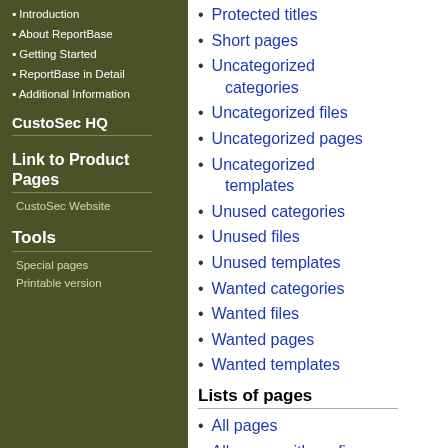Introduction
About ReportBase
Getting Started
ReportBase in Detail
Additional Information
CustoSec HQ
Link to Product Pages
CustoSec Website
Tools
Special pages
Printable version
Protected titles
Short pages
Uncategorized categories
Uncategorized files
Uncategorized pages
Uncategorized templates
Unused categories
Unused files
Unused templates
Wanted categories
Wanted files
Wanted pages
Wanted templates
Lists of pages
All pages
All pages with prefix